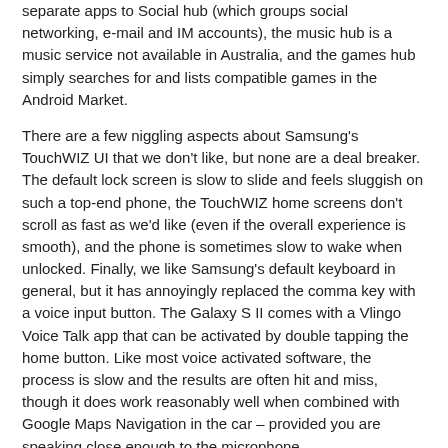separate apps to Social hub (which groups social networking, e-mail and IM accounts), the music hub is a music service not available in Australia, and the games hub simply searches for and lists compatible games in the Android Market.
There are a few niggling aspects about Samsung's TouchWIZ UI that we don't like, but none are a deal breaker. The default lock screen is slow to slide and feels sluggish on such a top-end phone, the TouchWIZ home screens don't scroll as fast as we'd like (even if the overall experience is smooth), and the phone is sometimes slow to wake when unlocked. Finally, we like Samsung's default keyboard in general, but it has annoyingly replaced the comma key with a voice input button. The Galaxy S II comes with a Vlingo Voice Talk app that can be activated by double tapping the home button. Like most voice activated software, the process is slow and the results are often hit and miss, though it does work reasonably well when combined with Google Maps Navigation in the car – provided you are speaking close enough to the microphone.
[Figure (photo): A smartphone displaying a Daily News newspaper app with headline 'NEW EXPERIENCE', shown on what appears to be a wooden surface background.]